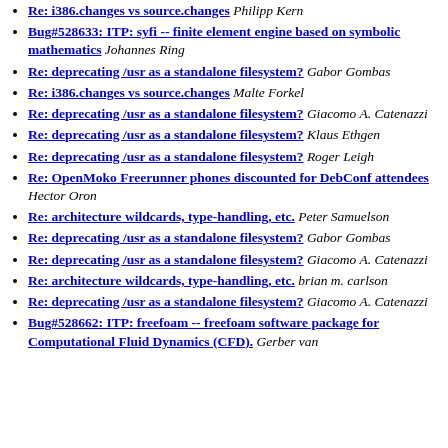Re: i386.changes vs source.changes Philipp Kern
Bug#528633: ITP: syfi -- finite element engine based on symbolic mathematics Johannes Ring
Re: deprecating /usr as a standalone filesystem? Gabor Gombas
Re: i386.changes vs source.changes Malte Forkel
Re: deprecating /usr as a standalone filesystem? Giacomo A. Catenazzi
Re: deprecating /usr as a standalone filesystem? Klaus Ethgen
Re: deprecating /usr as a standalone filesystem? Roger Leigh
Re: OpenMoko Freerunner phones discounted for DebConf attendees Hector Oron
Re: architecture wildcards, type-handling, etc. Peter Samuelson
Re: deprecating /usr as a standalone filesystem? Gabor Gombas
Re: deprecating /usr as a standalone filesystem? Giacomo A. Catenazzi
Re: architecture wildcards, type-handling, etc. brian m. carlson
Re: deprecating /usr as a standalone filesystem? Giacomo A. Catenazzi
Bug#528662: ITP: freefoam -- freefoam software package for Computational Fluid Dynamics (CFD). Gerber van